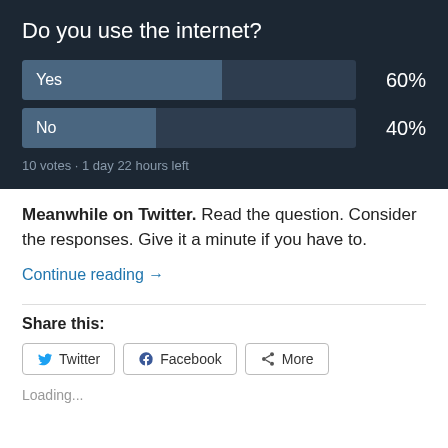[Figure (bar-chart): Do you use the internet?]
Meanwhile on Twitter. Read the question. Consider the responses. Give it a minute if you have to.
Continue reading →
Share this:
Loading...